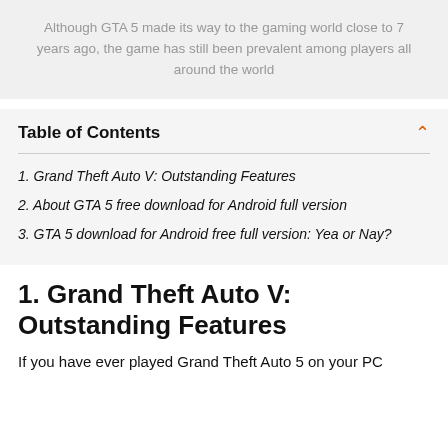Although GTA 5 made its way to the gaming world close to 7 years ago, the game has still been prevalent among players all around the world
Table of Contents
1. Grand Theft Auto V: Outstanding Features
2. About GTA 5 free download for Android full version
3. GTA 5 download for Android free full version: Yea or Nay?
1. Grand Theft Auto V: Outstanding Features
If you have ever played Grand Theft Auto 5 on your PC